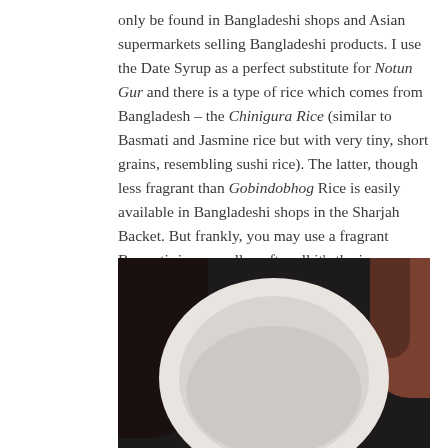only be found in Bangladeshi shops and Asian supermarkets selling Bangladeshi products. I use the Date Syrup as a perfect substitute for Notun Gur and there is a type of rice which comes from Bangladesh – the Chinigura Rice (similar to Basmati and Jasmine rice but with very tiny, short grains, resembling sushi rice). The latter, though less fragrant than Gobindobhog Rice is easily available in Bangladeshi shops in the Sharjah Backet. But frankly, you may use a fragrant Basmati rice as well… after all it's the journey with all it's imperfections that will stay in the memory, not the perfect tit-bits!
[Figure (photo): A close-up photo of a white bowl filled with white rice (likely Chinigura rice), with dark background objects visible around the bowl.]